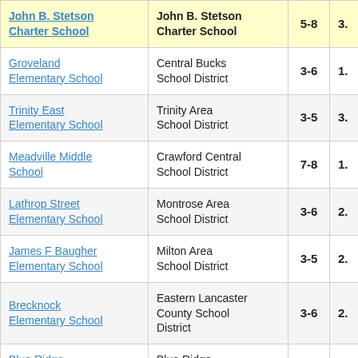| School | District | Grades |  |
| --- | --- | --- | --- |
| John B. Stetson Charter School | John B. Stetson Charter School | 5-8 | 3. |
| Groveland Elementary School | Central Bucks School District | 3-6 | 1. |
| Trinity East Elementary School | Trinity Area School District | 3-5 | 3. |
| Meadville Middle School | Crawford Central School District | 7-8 | 1. |
| Lathrop Street Elementary School | Montrose Area School District | 3-6 | 2. |
| James F Baugher Elementary School | Milton Area School District | 3-5 | 2. |
| Brecknock Elementary School | Eastern Lancaster County School District | 3-6 | 2. |
| Blue Ridge Elementary School | Blue Ridge School District | 3-5 | 2. |
| Oxford Valley | Pennsbury |  |  |